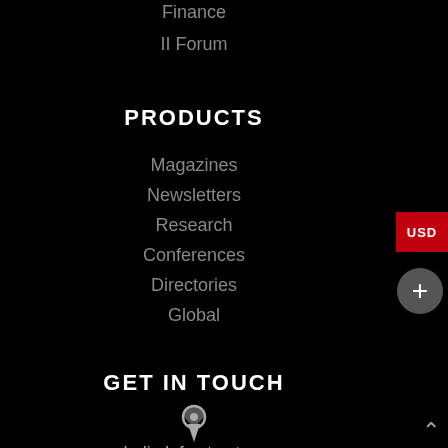Finance
II Forum
PRODUCTS
Magazines
Newsletters
Research
Conferences
Directories
Global
GET IN TOUCH
[Figure (illustration): Location pin / map marker icon in grey]
India Infrastructure